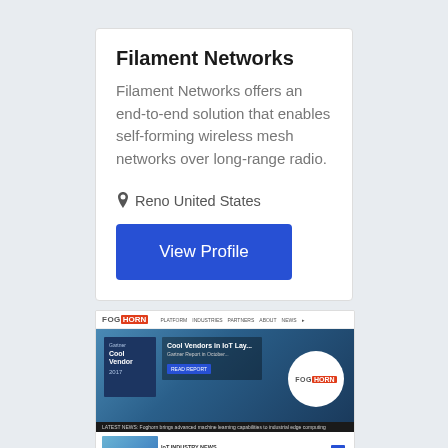Filament Networks
Filament Networks offers an end-to-end solution that enables self-forming wireless mesh networks over long-range radio.
📍 Reno United States
View Profile
[Figure (screenshot): Screenshot of FogHorn website showing Gartner Cool Vendor badge, Cool Vendors in IoT section banner, FogHorn logo overlay, and a news bar at the bottom with a thumbnail strip.]